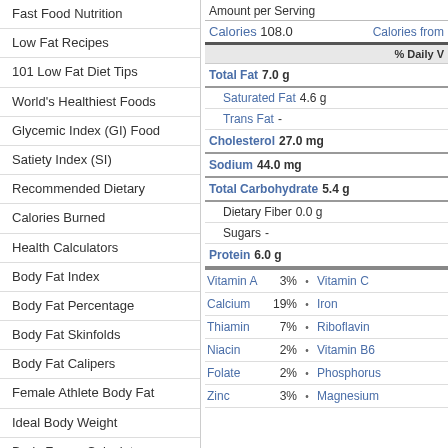Fast Food Nutrition
Low Fat Recipes
101 Low Fat Diet Tips
World's Healthiest Foods
Glycemic Index (GI) Food
Satiety Index (SI)
Recommended Dietary
Calories Burned
Health Calculators
Body Fat Index
Body Fat Percentage
Body Fat Skinfolds
Body Fat Calipers
Female Athlete Body Fat
Ideal Body Weight
Body Frame Calculator
Body Mass Index (BMI)
Body Mass Index (BMI) FAQ
Waist to Hip Ratio (WHR)
| Nutrient | Amount |
| --- | --- |
| Amount per Serving |  |
| Calories | 108.0 |
| Calories from |  |
| % Daily V |  |
| Total Fat | 7.0 g |
| Saturated Fat | 4.6 g |
| Trans Fat | - |
| Cholesterol | 27.0 mg |
| Sodium | 44.0 mg |
| Total Carbohydrate | 5.4 g |
| Dietary Fiber | 0.0 g |
| Sugars | - |
| Protein | 6.0 g |
| Vitamin A | 3% |
| Vitamin C |  |
| Calcium | 19% |
| Iron |  |
| Thiamin | 7% |
| Riboflavin |  |
| Niacin | 2% |
| Vitamin B6 |  |
| Folate | 2% |
| Phosphorus |  |
| Zinc | 3% |
| Magnesium |  |